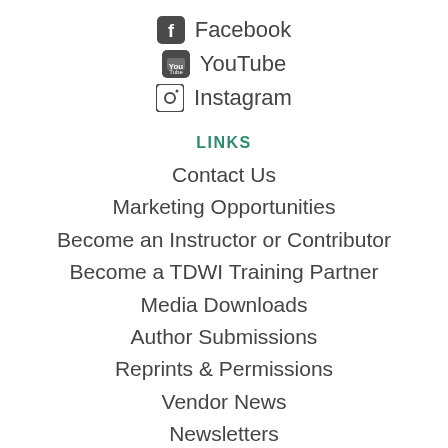Facebook
YouTube
Instagram
LINKS
Contact Us
Marketing Opportunities
Become an Instructor or Contributor
Become a TDWI Training Partner
Media Downloads
Author Submissions
Reprints & Permissions
Vendor News
Newsletters
Press Releases
Sitemap
TDWI Europe